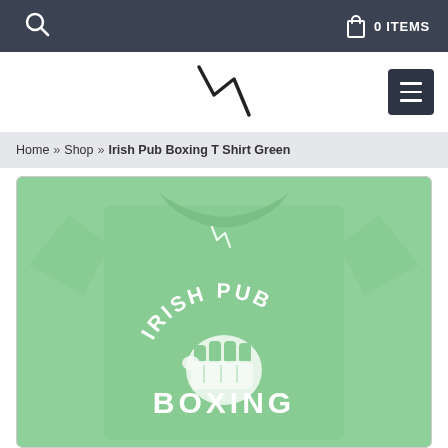🔍   0 ITEMS
[Figure (logo): Brand logo with lightning bolt zigzag mark in center]
Home » Shop » Irish Pub Boxing T Shirt Green
[Figure (photo): Green t-shirt with 'Irish Pub Boxing' text and boxing fist graphic printed in white on the chest]